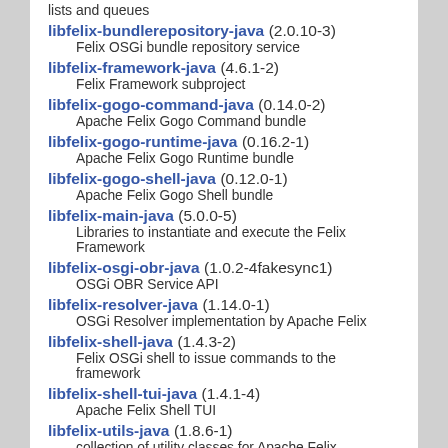lists and queues
libfelix-bundlerepository-java (2.0.10-3)
Felix OSGi bundle repository service
libfelix-framework-java (4.6.1-2)
Felix Framework subproject
libfelix-gogo-command-java (0.14.0-2)
Apache Felix Gogo Command bundle
libfelix-gogo-runtime-java (0.16.2-1)
Apache Felix Gogo Runtime bundle
libfelix-gogo-shell-java (0.12.0-1)
Apache Felix Gogo Shell bundle
libfelix-main-java (5.0.0-5)
Libraries to instantiate and execute the Felix Framework
libfelix-osgi-obr-java (1.0.2-4fakesync1)
OSGi OBR Service API
libfelix-resolver-java (1.14.0-1)
OSGi Resolver implementation by Apache Felix
libfelix-shell-java (1.4.3-2)
Felix OSGi shell to issue commands to the framework
libfelix-shell-tui-java (1.4.1-4)
Apache Felix Shell TUI
libfelix-utils-java (1.8.6-1)
collection of utility classes for Apache Felix
libfest-assert-java (2.0~M10-1)
Java library that provides a fluent interface for